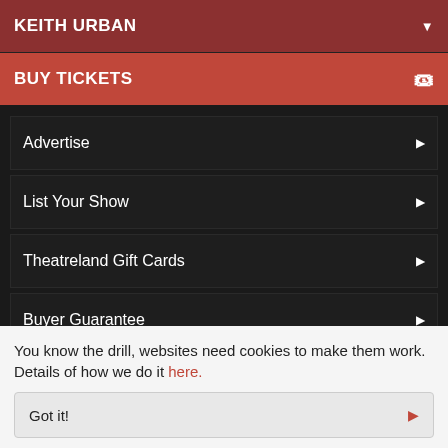KEITH URBAN
BUY TICKETS
Advertise
List Your Show
Theatreland Gift Cards
Buyer Guarantee
Covid updates
[Figure (logo): Theatreland Ltd logo in large bold italic white uppercase text]
You know the drill, websites need cookies to make them work. Details of how we do it here.
Got it!